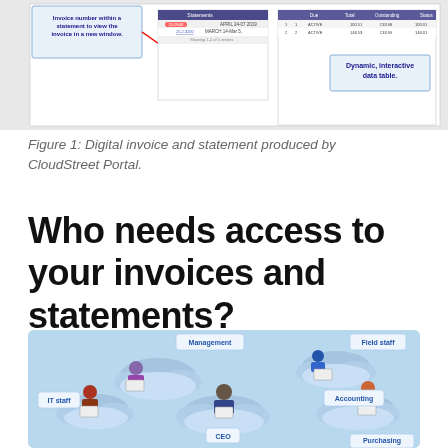[Figure (screenshot): Screenshot of CloudStreet Portal showing a digital invoice statement interface with a highlighted invoice number link, a data table, callout boxes labeled 'Invoice number within a statement to view the invoice in a new window.' and 'Dynamic, interactive data table.']
Figure 1: Digital invoice and statement produced by CloudStreet Portal.
Who needs access to your invoices and statements?
[Figure (infographic): Infographic illustration on a light blue background showing various business roles sitting on clouds with laptops and devices, with labels: Management, Field staff, IT staff, Accounting, CEO, Purchasing]